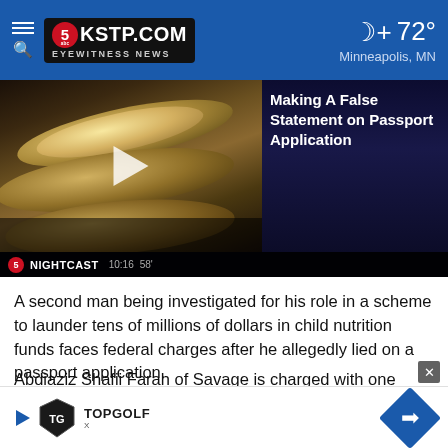KSTP.COM EYEWITNESS NEWS — Minneapolis, MN — 72°
[Figure (screenshot): Video thumbnail showing canned food items with overlay text 'Making A False Statement on Passport Application' and a play button. Bottom bar shows 5 NIGHTCAST logo and timecode 10:16 58']
A second man being investigated for his role in a scheme to launder tens of millions of dollars in child nutrition funds faces federal charges after he allegedly lied on a passport application.
Abdiaziz Shafii Farah of Savage is charged with one count of passport fraud, court documents show. He has not been charged in connection with the Federal Child Nutrition Program